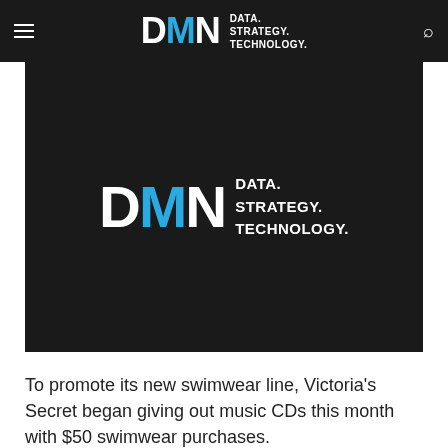DMN DATA. STRATEGY. TECHNOLOGY.
[Figure (logo): DMN logo on dark background with tagline DATA. STRATEGY. TECHNOLOGY.]
To promote its new swimwear line, Victoria's Secret began giving out music CDs this month with $50 swimwear purchases.